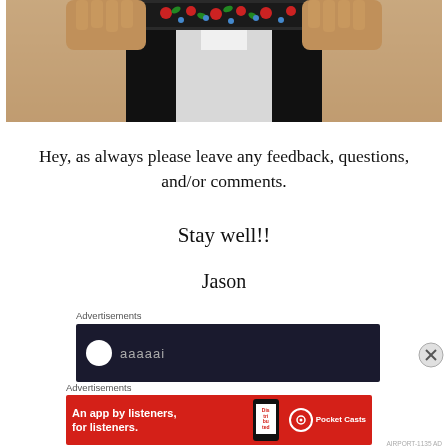[Figure (photo): Close-up photo of a person wearing a traditional embroidered vest with floral patterns in red, green, and blue. Hands and arms are visible, person is wearing a white shirt underneath.]
Hey, as always please leave any feedback, questions, and/or comments.
Stay well!!
Jason
Advertisements
[Figure (screenshot): Dark advertisement banner with a white circle logo and partial text visible]
Advertisements
[Figure (screenshot): Pocket Casts advertisement: red banner reading 'An app by listeners, for listeners.' with a phone graphic and Pocket Casts logo]